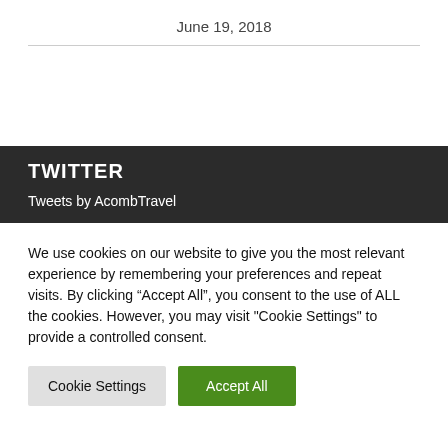June 19, 2018
TWITTER
Tweets by AcombTravel
We use cookies on our website to give you the most relevant experience by remembering your preferences and repeat visits. By clicking “Accept All”, you consent to the use of ALL the cookies. However, you may visit "Cookie Settings" to provide a controlled consent.
Cookie Settings
Accept All